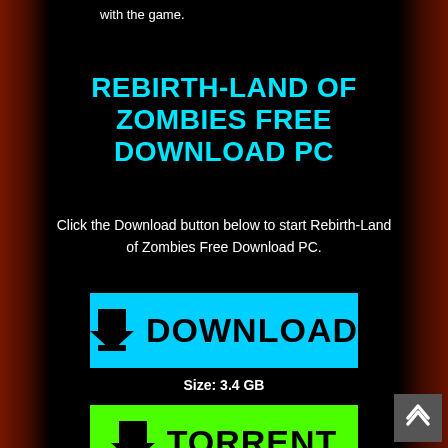with the game.
REBIRTH-LAND OF ZOMBIES FREE DOWNLOAD PC
Click the Download button below to start Rebirth-Land of Zombies Free Download PC.
[Figure (screenshot): Cyan DOWNLOAD button with download arrow icon]
Size: 3.4 GB
[Figure (screenshot): Green TORRENT button with download arrow icon (partially visible)]